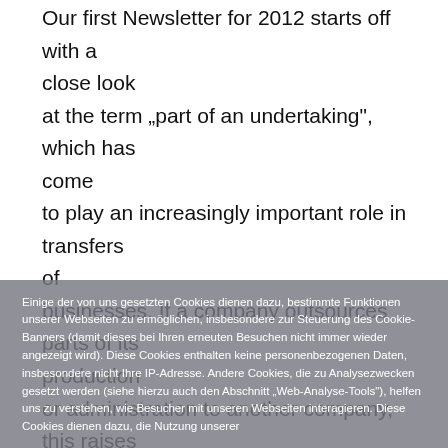Our first Newsletter for 2012 starts off with a close look at the term „part of an undertaking", which has come to play an increasingly important role in transfers of businesses. If a company outsources parts of its production or administration to another company, this raises the question of whether the employment relationships transfer to the other company by operation of law (section 613a of the German Civil Code). The outsourced division, the more significant this question... However, not every form of outsourcing constitutes the...
Einige der von uns gesetzten Cookies dienen dazu, bestimmte Funktionen unserer Webseiten zu ermöglichen, insbesondere zur Steuerung des Cookie-Banners (damit dieses bei Ihren erneuten Besuchen nicht immer wieder angezeigt wird). Diese Cookies enthalten keine personenbezogenen Daten, insbesondere nicht Ihre IP-Adresse. Andere Cookies, die zu Analysezwecken gesetzt werden (siehe hierzu auch den Abschnitt „Web-Analyse-Tools"), helfen uns zu verstehen, wie Besucher mit unseren Webseiten interagieren. Diese Cookies dienen dazu, die Nutzung unserer...